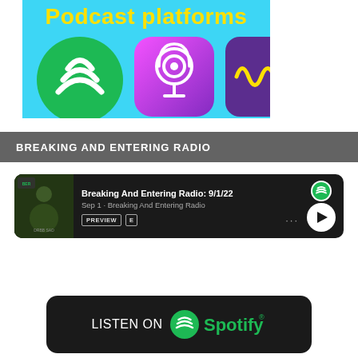[Figure (illustration): Podcast platforms banner with cyan/light blue background, yellow bold text 'Podcast platforms', and three app icons: Spotify (green circle with white sound waves), Apple Podcasts (pink/purple gradient with microphone icon), and Pocket Casts / Wondery (purple square with yellow audio waveform)]
BREAKING AND ENTERING RADIO
[Figure (screenshot): Spotify podcast episode card on dark background showing episode 'Breaking And Entering Radio: 9/1/22', dated Sep 1, from Breaking And Entering Radio podcast. Has a thumbnail image, PREVIEW and E buttons, dots menu, and play button. Spotify logo top right.]
[Figure (logo): Listen on Spotify badge: dark/black rounded rectangle with white text 'LISTEN ON' and green Spotify logo with text 'Spotify']